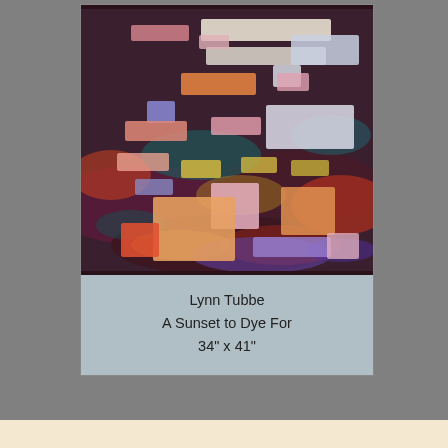[Figure (illustration): A colorful abstract quilt artwork showing layered rectangular fabric pieces in warm sunset tones — oranges, pinks, purples, blues, and yellows — arranged across a dark background resembling a sunset landscape. The piece is titled 'A Sunset to Dye For' by Lynn Tubbe.]
Lynn Tubbe
A Sunset to Dye For
34" x 41"